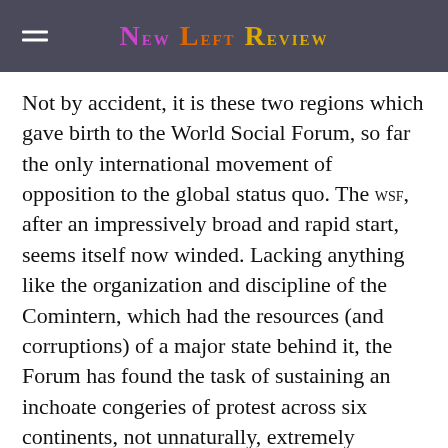New Left Review
Not by accident, it is these two regions which gave birth to the World Social Forum, so far the only international movement of opposition to the global status quo. The WSF, after an impressively broad and rapid start, seems itself now winded. Lacking anything like the organization and discipline of the Comintern, which had the resources (and corruptions) of a major state behind it, the Forum has found the task of sustaining an inchoate congeries of protest across six continents, not unnaturally, extremely difficult. Less predictably, the great wave of demonstrations against the impending invasion of Iraq did not give it a second breath